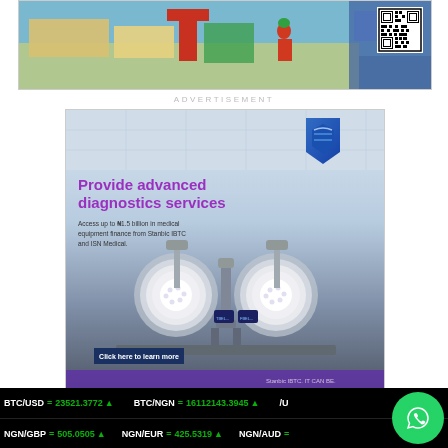[Figure (photo): Industrial/maritime scene showing a worker in red overalls and green hard hat walking on a ship deck with machinery and containers in the background. A QR code is visible in the top right corner.]
ADVERTISEMENT
[Figure (photo): Stanbic IBTC advertisement for medical equipment finance. Text reads: Provide advanced diagnostics services. Access up to N1.5 billion in medical equipment finance from Stanbic IBTC and ISN Medical. Click here to learn more. Shows surgical robots and operating room lights.]
BTC/USD = 23521.3772 ▲   BTC/NGN = 16112143.3945 ▲   NGN/GBP = 505.0505 ▲   NGN/EUR = 425.5319 ▲   NGN/AUD = ...